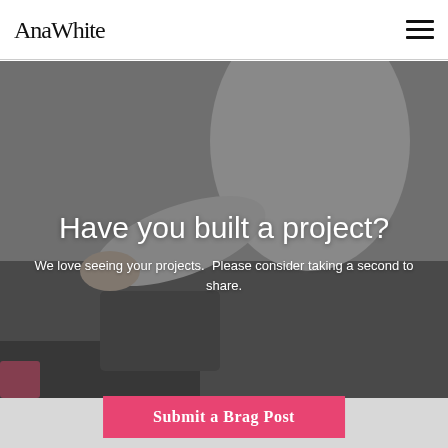AnaWhite
[Figure (photo): Background photo of a person working on a project, with a dark overlay. The image shows someone's arms/torso reaching across a work surface.]
Have you built a project?
We love seeing your projects.  Please consider taking a second to share.
Submit a Brag Post